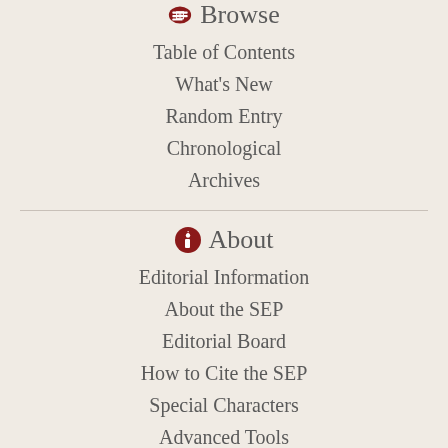Browse
Table of Contents
What's New
Random Entry
Chronological
Archives
About
Editorial Information
About the SEP
Editorial Board
How to Cite the SEP
Special Characters
Advanced Tools
Contact
Support SEP
Support the SEP